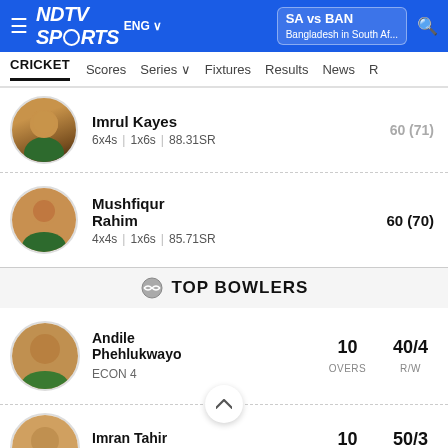NDTV Sports ENG | SA vs BAN Bangladesh in South Af...
CRICKET | Scores | Series | Fixtures | Results | News
| Player | Stats | Score |
| --- | --- | --- |
| Imrul Kayes | 6x4s | 1x6s | 88.31SR | 60 (71) |
| Mushfiqur Rahim | 4x4s | 1x6s | 85.71SR | 60 (70) |
TOP BOWLERS
| Bowler | ECON | Overs | R/W |
| --- | --- | --- | --- |
| Andile Phehlukwayo | ECON 4 | 10 | 40/4 |
| Imran Tahir | ECON 5 | 10 | 50/3 |